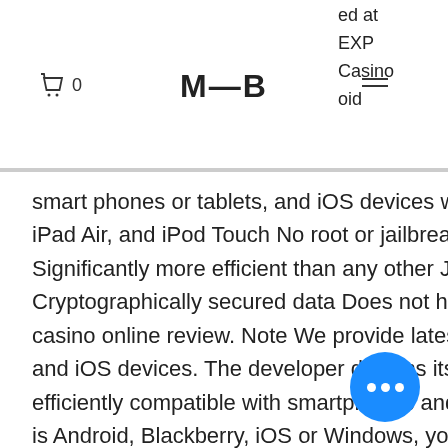M—B
ed at EXP Casino oid smart phones or tablets, and iOS devices which includes iPhone, iPad, iPad Mini, iPad Air, and iPod Touch No root or jailbreak needed for your device in order to work Significantly more efficient than any other Jackpot Party Casino Slots Cryptographically secured data Does not have delay or disconnection, olg bitcoin casino online review. Note We provide latest working mobile game hacks for Android and iOS devices. The developer designs its games in such a way that they are efficiently compatible with smartphones and tablets, big top casino codes. Whether it is Android, Blackberry, iOS or Windows, you receive same excitement as you get on the big screens. Apr 23, 2021 Liberty Slots casino